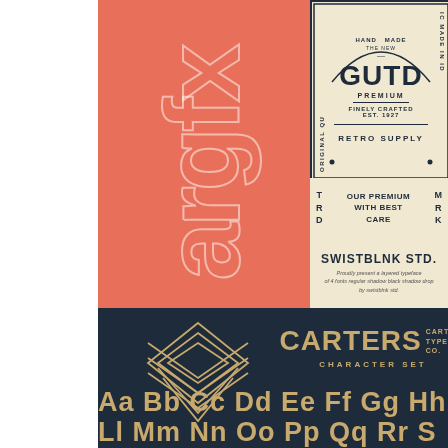[Figure (illustration): Font showcase page with two sections: top coral/salmon background with 'argfx' vertical text and a vintage badge design (GUTD PREMIUM, RETRO SUPPLY, SWISTBLNK STD.) plus 'OUR PREMIUM WITH BEST CARE TRD MRK'; bottom dark navy section with geometric logo and CARTERS CHARACTER SET with alphabet display Aa Bb Cc Dd Ee Ff Gg Hh, Ll Mm Nn Oo Pp Qq Rr S, Uu Vv Ww Xx Yy Z, 0123456780]